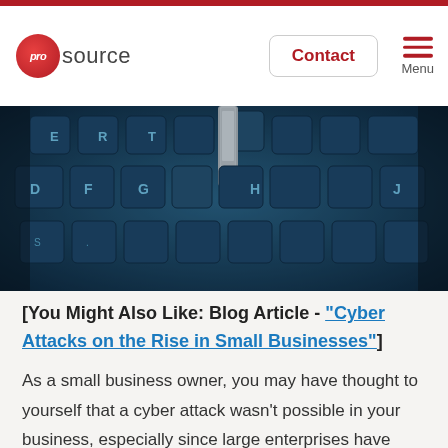prosource | Contact | Menu
[Figure (photo): Close-up macro photo of a dark blue laptop/computer keyboard with a metallic USB or security key inserted between keys, with a blue-tinted cybersecurity aesthetic.]
[You Might Also Like: Blog Article - "Cyber Attacks on the Rise in Small Businesses"]
As a small business owner, you may have thought to yourself that a cyber attack wasn't possible in your business, especially since large enterprises have bigger databases with millions of records. Recent reports have